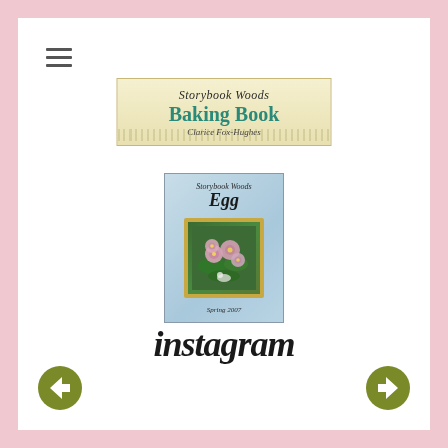[Figure (logo): Hamburger menu icon (three horizontal lines) in top left corner]
[Figure (illustration): Banner header image for 'Storybook Woods Baking Book by Clarice Fox-Hughes' on a cream/yellow parchment background with decorative botanical border]
[Figure (illustration): Book cover for 'Storybook Woods Egg, Spring 2007' with light blue background, a framed photo of pink flowers with decorative gold border]
[Figure (logo): Instagram logo in cursive/script black text]
[Figure (infographic): Navigation arrow buttons: left arrow (olive/dark yellow circle with white left arrow) and right arrow (olive/dark yellow circle with white right arrow)]